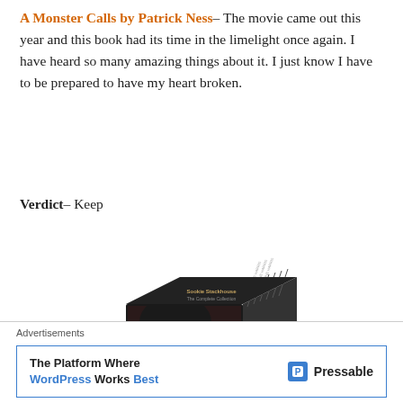A Monster Calls by Patrick Ness – The movie came out this year and this book had its time in the limelight once again. I have heard so many amazing things about it. I just know I have to be prepared to have my heart broken.
Verdict – Keep
[Figure (photo): A boxed set of Charlaine Harris books, showing multiple spines and a cover with a woman's face and red lips.]
Advertisements
The Platform Where WordPress Works Best — Pressable